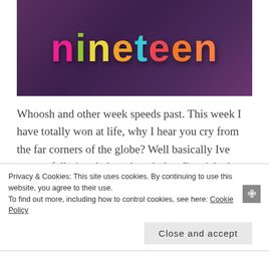[Figure (photo): Photo of colorful 3D plastic letter magnets spelling 'nineteen' on a dark purple background. Letters are in various colors: pink n, green i, yellow n, orange e, teal t, red e, orange e, orange n.]
Whoosh and other week speeds past. This week I have totally won at life, why I hear you cry from the far corners of the globe? Well basically Ive successfully juggled work and play. I've ticked my to do list, as well as made time for myself and some
Privacy & Cookies: This site uses cookies. By continuing to use this website, you agree to their use.
To find out more, including how to control cookies, see here: Cookie Policy
Close and accept